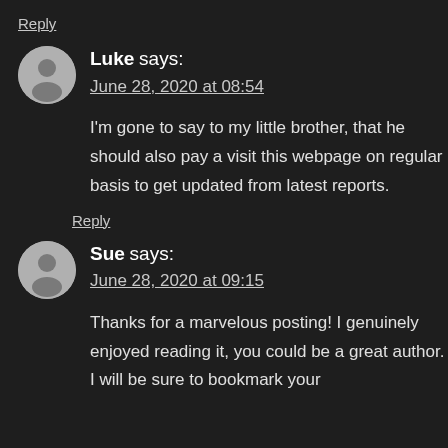Reply
Luke says:
June 28, 2020 at 08:54
I'm gone to say to my little brother, that he should also pay a visit this webpage on regular basis to get updated from latest reports.
Reply
Sue says:
June 28, 2020 at 09:15
Thanks for a marvelous posting! I genuinely enjoyed reading it, you could be a great author. I will be sure to bookmark your